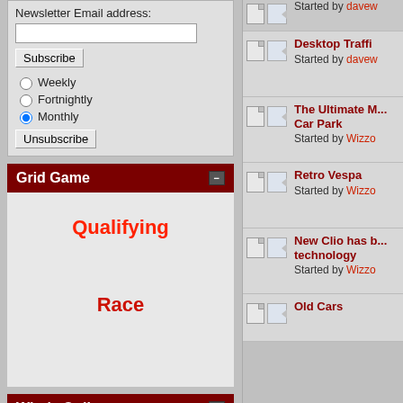Newsletter Email address:
Subscribe | Weekly | Fortnightly | Monthly (selected) | Unsubscribe
Grid Game
Qualifying
Race
Who's Online
Started by davew
Desktop Traffi... Started by davew
The Ultimate M... Car Park Started by Wizzo
Retro Vespa Started by Wizzo
New Clio has b... technology Started by Wizzo
Old Cars